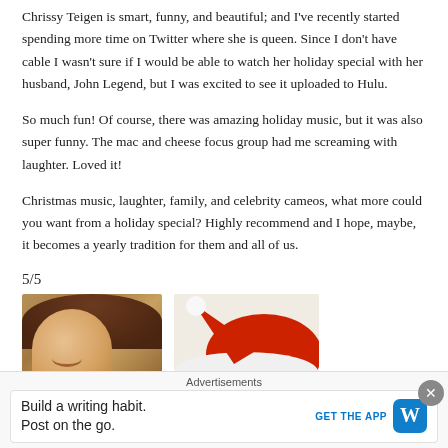Chrissy Teigen is smart, funny, and beautiful; and I've recently started spending more time on Twitter where she is queen. Since I don't have cable I wasn't sure if I would be able to watch her holiday special with her husband, John Legend, but I was excited to see it uploaded to Hulu.
So much fun! Of course, there was amazing holiday music, but it was also super funny. The mac and cheese focus group had me screaming with laughter. Loved it!
Christmas music, laughter, family, and celebrity cameos, what more could you want from a holiday special? Highly recommend and I hope, maybe, it becomes a yearly tradition for them and all of us.
5/5
[Figure (photo): Photo of Chrissy Teigen smiling]
[Figure (photo): Santa hat image]
Advertisements
Build a writing habit. Post on the go.
GET THE APP